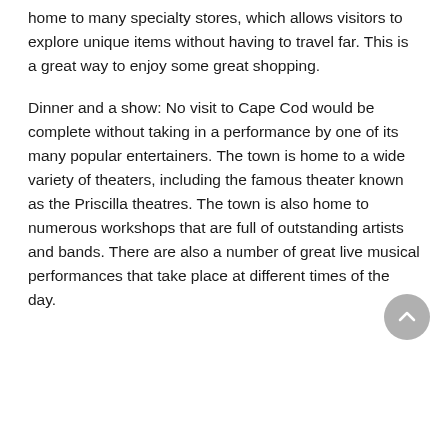home to many specialty stores, which allows visitors to explore unique items without having to travel far. This is a great way to enjoy some great shopping.
Dinner and a show: No visit to Cape Cod would be complete without taking in a performance by one of its many popular entertainers. The town is home to a wide variety of theaters, including the famous theater known as the Priscilla theatres. The town is also home to numerous workshops that are full of outstanding artists and bands. There are also a number of great live musical performances that take place at different times of the day.